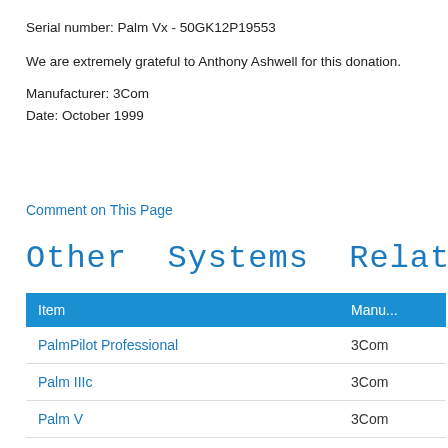Serial number: Palm Vx - 50GK12P19553
We are extremely grateful to Anthony Ashwell for this donation.
Manufacturer: 3Com
Date: October 1999
Comment on This Page
Other Systems Related To
| Item | Manu... |
| --- | --- |
| PalmPilot Professional | 3Com |
| Palm IIIc | 3Com |
| Palm V | 3Com |
| Palm IIIx | 3Com |
| Palm 100 | 3Com |